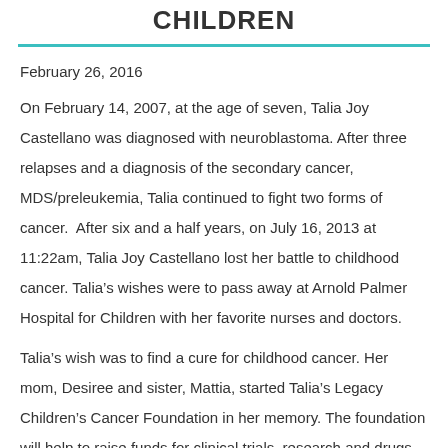CHILDREN
February 26, 2016
On February 14, 2007, at the age of seven, Talia Joy Castellano was diagnosed with neuroblastoma. After three relapses and a diagnosis of the secondary cancer, MDS/preleukemia, Talia continued to fight two forms of cancer.  After six and a half years, on July 16, 2013 at 11:22am, Talia Joy Castellano lost her battle to childhood cancer. Talia’s wishes were to pass away at Arnold Palmer Hospital for Children with her favorite nurses and doctors.
Talia’s wish was to find a cure for childhood cancer. Her mom, Desiree and sister, Mattia, started Talia’s Legacy Children’s Cancer Foundation in her memory. The foundation will help to raise funds for clinical trials, research and drugs that